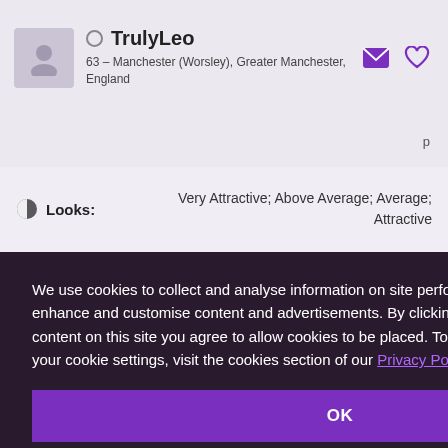TrulyLeo — 63 – Manchester (Worsley), Greater Manchester, England
Looks: Very Attractive; Above Average; Average; Attractive
Any
Any
rtant at all
Widowed
Any
We use cookies to collect and analyse information on site performance and usage, and to enhance and customise content and advertisements. By clicking "OK" or clicking into any content on this site you agree to allow cookies to be placed. To find out more or to change your cookie settings, visit the cookies section of our Privacy Policy.
OK